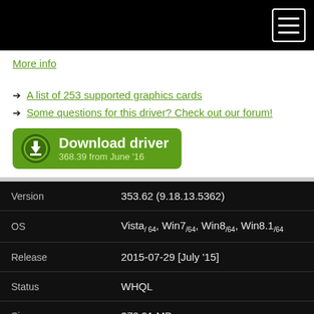[Figure (other): Black top navigation bar with hamburger menu icon (three horizontal lines in a white-bordered box) in the top right corner]
More info
A list of 253 supported graphics cards
Some questions for this driver? Check out our forum!
[Figure (other): Green download button with download icon, text 'Download driver' and '368.39 from June '16']
|  |  |
| --- | --- |
| Version | 353.62 (9.18.13.5362) |
| OS | Vista/64, Win7/64, Win8/64, Win8.1/64 |
| Release | 2015-07-29 [July '15] |
| Status | WHQL |
| Size | 278,91 MB |
| Downloaded | 141385× |